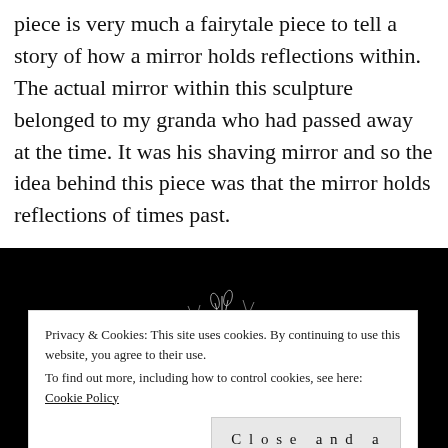piece is very much a fairytale piece to tell a story of how a mirror holds reflections within. The actual mirror within this sculpture belonged to my granda who had passed away at the time. It was his shaving mirror and so the idea behind this piece was that the mirror holds reflections of times past.
[Figure (photo): A dark/black and white photograph of a plant or sculptural form with thin stems/branches illuminated against a black background.]
Privacy & Cookies: This site uses cookies. By continuing to use this website, you agree to their use. To find out more, including how to control cookies, see here: Cookie Policy
Close and accept